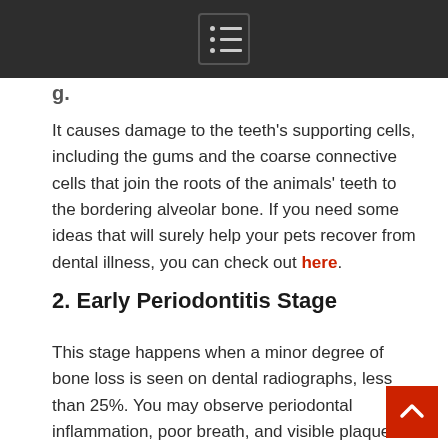[menu icon bar]
It causes damage to the teeth's supporting cells, including the gums and the coarse connective cells that join the roots of the animals' teeth to the bordering alveolar bone. If you need some ideas that will surely help your pets recover from dental illness, you can check out here.
2. Early Periodontitis Stage
This stage happens when a minor degree of bone loss is seen on dental radiographs, less than 25%. You may observe periodontal inflammation, poor breath, and visible plaque and tartar on your animal's teeth. Your animal will call for professional cleaning at this phase to remove all plaque and tartar and hinder the development of dental illness. A veterinarian must be contacted right away if your